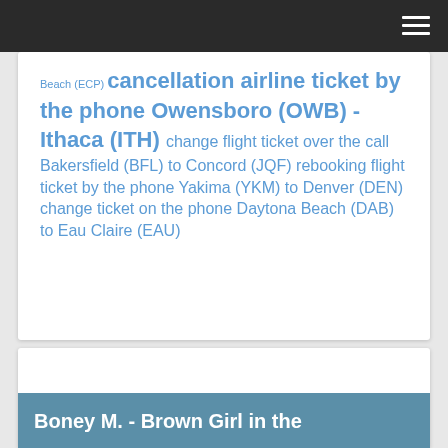☰
Beach (ECP) cancellation airline ticket by the phone Owensboro (OWB) - Ithaca (ITH) change flight ticket over the call Bakersfield (BFL) to Concord (JQF) rebooking flight ticket by the phone Yakima (YKM) to Denver (DEN) change ticket on the phone Daytona Beach (DAB) to Eau Claire (EAU)
Boney M. - Brown Girl in the